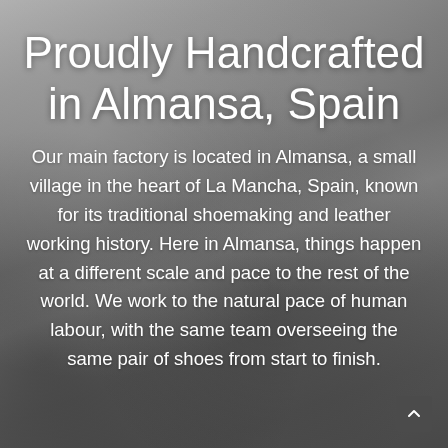[Figure (photo): Aerial black and white photograph of Almansa, Spain, showing castle, agricultural fields, and landscape]
Proudly Handcrafted in Almansa, Spain
Our main factory is located in Almansa, a small village in the heart of La Mancha, Spain, known for its traditional shoemaking and leather working history. Here in Almansa, things happen at a different scale and pace to the rest of the world. We work to the natural pace of human labour, with the same team overseeing the same pair of shoes from start to finish.